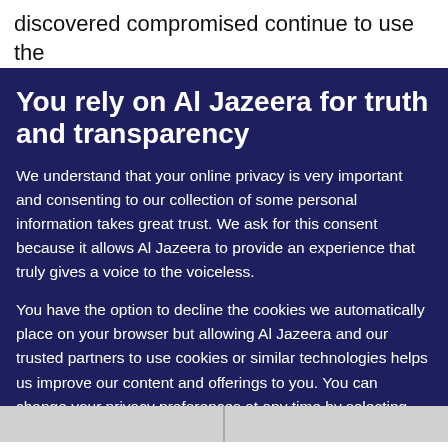discovered compromised continue to use the service
You rely on Al Jazeera for truth and transparency
We understand that your online privacy is very important and consenting to our collection of some personal information takes great trust. We ask for this consent because it allows Al Jazeera to provide an experience that truly gives a voice to the voiceless.
You have the option to decline the cookies we automatically place on your browser but allowing Al Jazeera and our trusted partners to use cookies or similar technologies helps us improve our content and offerings to you. You can change your privacy preferences at any time by selecting 'Cookie preferences' at the bottom of your screen. To learn more, please view our Cookie Policy.